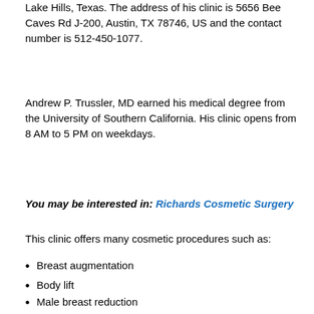Lake Hills, Texas. The address of his clinic is 5656 Bee Caves Rd J-200, Austin, TX 78746, US and the contact number is 512-450-1077.
Andrew P. Trussler, MD earned his medical degree from the University of Southern California. His clinic opens from 8 AM to 5 PM on weekdays.
You may be interested in: Richards Cosmetic Surgery
This clinic offers many cosmetic procedures such as:
Breast augmentation
Body lift
Male breast reduction
F...